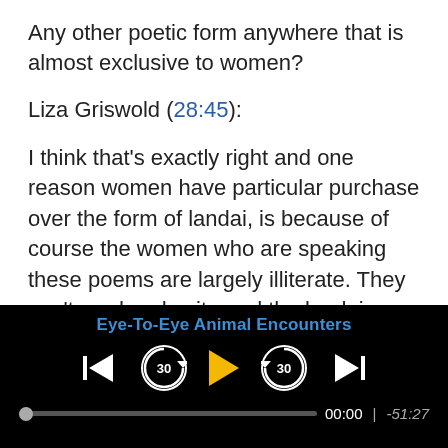Any other poetic form anywhere that is almost exclusive to women?
Liza Griswold (28:45):
I think that’s exactly right and one reason women have particular purchase over the form of landai, is because of course the women who are speaking these poems are largely illiterate. They can't read and write and the landai becomes as it did for Rahila Moska, an ongoing form of education and a way of speaking when there was no other form allowed to her.
Eye-To-Eye Animal Encounters
00:00 | -51:27